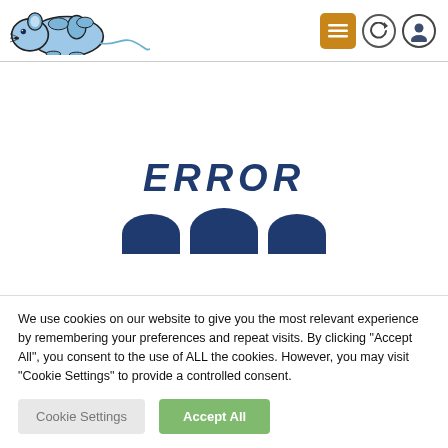[Figure (logo): Blue cartoon computer mouse illustration — a mouse character lying flat with a cord tail, in blue tones with black outlines]
[Figure (illustration): Navigation bar icons: orange hamburger menu button, circular refresh/sync icon, circular user/profile icon]
ERROR
[Figure (illustration): Three dark navy blue semicircle/dome shapes partially visible below the ERROR text, representing large digit numerals partially cropped]
We use cookies on our website to give you the most relevant experience by remembering your preferences and repeat visits. By clicking "Accept All", you consent to the use of ALL the cookies. However, you may visit "Cookie Settings" to provide a controlled consent.
Cookie Settings
Accept All